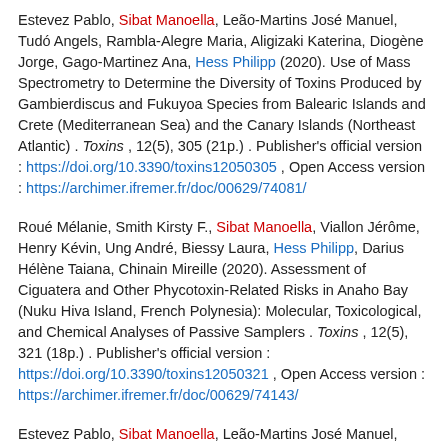Estevez Pablo, Sibat Manoella, Leão-Martins José Manuel, Tudó Angels, Rambla-Alegre Maria, Aligizaki Katerina, Diogène Jorge, Gago-Martinez Ana, Hess Philipp (2020). Use of Mass Spectrometry to Determine the Diversity of Toxins Produced by Gambierdiscus and Fukuyoa Species from Balearic Islands and Crete (Mediterranean Sea) and the Canary Islands (Northeast Atlantic) . Toxins , 12(5), 305 (21p.) . Publisher's official version : https://doi.org/10.3390/toxins12050305 , Open Access version : https://archimer.ifremer.fr/doc/00629/74081/
Roué Mélanie, Smith Kirsty F., Sibat Manoella, Viallon Jérôme, Henry Kévin, Ung André, Biessy Laura, Hess Philipp, Darius Hélène Taiana, Chinain Mireille (2020). Assessment of Ciguatera and Other Phycotoxin-Related Risks in Anaho Bay (Nuku Hiva Island, French Polynesia): Molecular, Toxicological, and Chemical Analyses of Passive Samplers . Toxins , 12(5), 321 (18p.) . Publisher's official version : https://doi.org/10.3390/toxins12050321 , Open Access version : https://archimer.ifremer.fr/doc/00629/74143/
Estevez Pablo, Sibat Manoella, Leão-Martins José Manuel, Reis Costa Pedro, Gago-Martínez Ana, Hess Philipp (2020). Liquid Chromatography Coupled to High-Resolution Mass Spectrometry for the Confirmation of Caribbean Ciguatoxin 1 as...